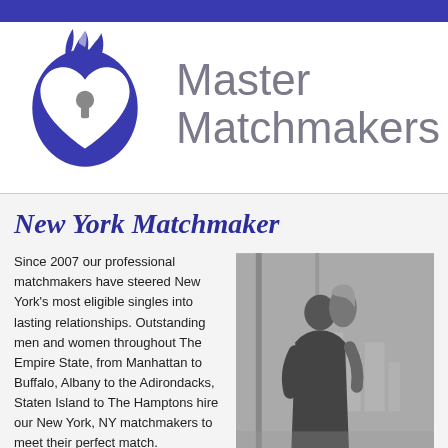[Figure (logo): Master Matchmakers logo: dark blue flame-wrapped heart with keyhole, beside the text 'Master Matchmakers' in gray sans-serif]
New York Matchmaker
Since 2007 our professional matchmakers have steered New York's most eligible singles into lasting relationships. Outstanding men and women throughout The Empire State, from Manhattan to Buffalo, Albany to the Adirondacks, Staten Island to The Hamptons hire our New York, NY matchmakers to meet their perfect match.
[Figure (photo): Black and white photo of a couple kissing in front of a large window with a city skyline visible in the background]